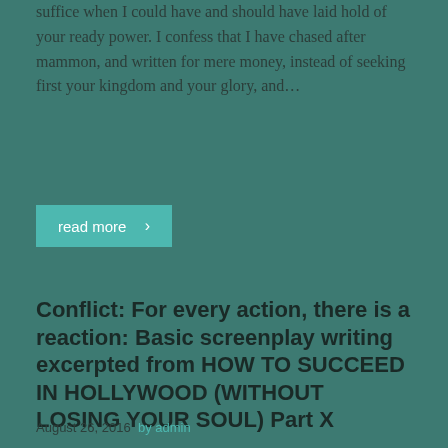suffice when I could have and should have laid hold of your ready power. I confess that I have chased after mammon, and written for mere money, instead of seeking first your kingdom and your glory, and…
read more ›
Conflict: For every action, there is a reaction: Basic screenplay writing excerpted from HOW TO SUCCEED IN HOLLYWOOD (WITHOUT LOSING YOUR SOUL) Part X
August 26, 2016  by admin
In every premise, it is conflict that drives the communication